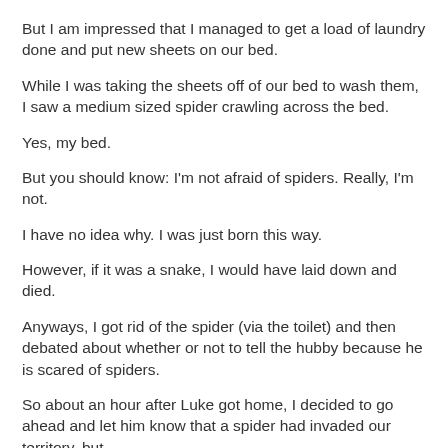But I am impressed that I managed to get a load of laundry done and put new sheets on our bed.
While I was taking the sheets off of our bed to wash them, I saw a medium sized spider crawling across the bed.
Yes, my bed.
But you should know: I'm not afraid of spiders. Really, I'm not.
I have no idea why. I was just born this way.
However, if it was a snake, I would have laid down and died.
Anyways, I got rid of the spider (via the toilet) and then debated about whether or not to tell the hubby because he is scared of spiders.
So about an hour after Luke got home, I decided to go ahead and let him know that a spider had invaded our territory, but